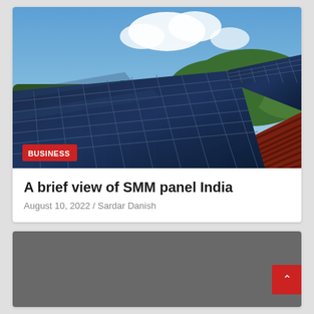[Figure (photo): Aerial view of solar panels installed on a red corrugated metal roof, with green hills and a partly cloudy blue sky in the background. A red 'BUSINESS' badge label is overlaid in the bottom-left corner of the image.]
A brief view of SMM panel India
August 10, 2022 / Sardar Danish
[Figure (other): Gray rectangle representing a partially visible second card/article area at the bottom of the page, with a red scroll-to-top button in the bottom right corner containing an upward chevron arrow.]